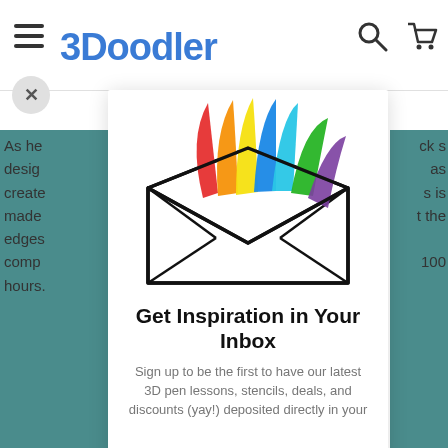3Doodler
As he ck s design as create s is made t the edges comp 100 hours.
[Figure (illustration): Illustrated envelope with rainbow-colored 3D pen strands shooting out of it — red, orange, yellow, blue, green, and purple — drawn in a doodle style with thick black outlines.]
Get Inspiration in Your Inbox
Sign up to be the first to have our latest 3D pen lessons, stencils, deals, and discounts (yay!) deposited directly in your